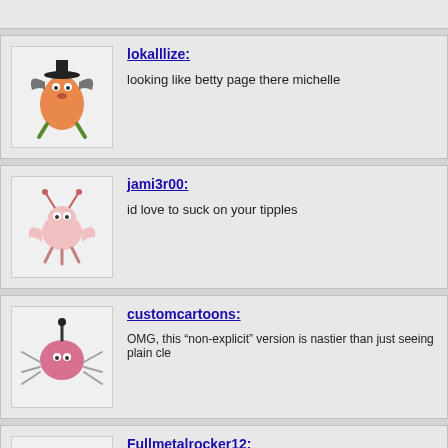lokalllize: looking like betty page there michelle
jami3r00: id love to suck on your tipples
customcartoons: OMG, this "non-explicit" version is nastier than just seeing plain cle
Fullmetalrocker12: I love the boob shots they make while she pours the drink. Haha!
rome71rome: